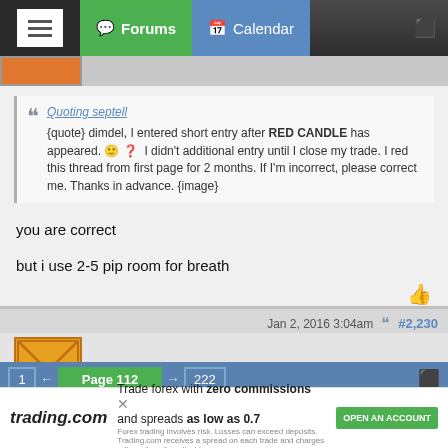Forums  Calendar
Quoting septell
{quote} dimdel, I entered short entry after RED CANDLE has appeared. 🙂 ❓ I didn't additional entry until I close my trade. I red this thread from first page for 2 months. If I'm incorrect, please correct me. Thanks in advance. {image}
you are correct
but i use 2-5 pip room for breath
Jan 2, 2016 3:04am  #2,230
dimdel
happy new year to all of you
1  ← Page 112 → 222
trading.com  Trade forex with zero commissions and spreads as low as 0.7  Forex trading involves risk. Losses can exceed deposits. Trading.com receives a spread on each trade and charges rollover fees if applicable.  OPEN AN ACCOUNT